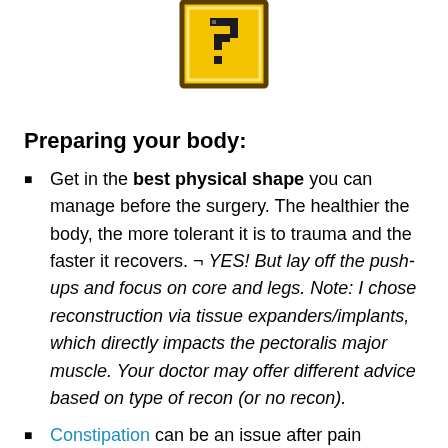[Figure (illustration): Pixel art icon of a yellow question mark block (Mario-style) centered at the top of the page]
Preparing your body:
Get in the best physical shape you can manage before the surgery. The healthier the body, the more tolerant it is to trauma and the faster it recovers. ¬ YES! But lay off the push-ups and focus on core and legs. Note: I chose reconstruction via tissue expanders/implants, which directly impacts the pectoralis major muscle. Your doctor may offer different advice based on type of recon (or no recon).
Constipation can be an issue after pain medication and anesthesia. Two weeks pre-surgery start getting